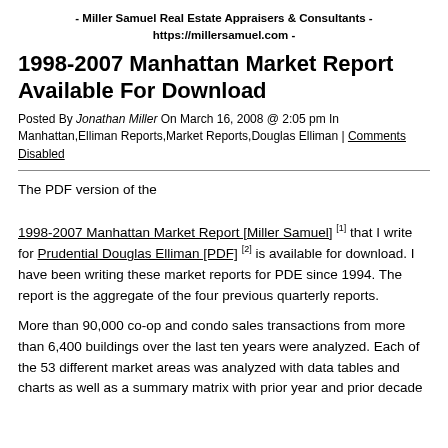- Miller Samuel Real Estate Appraisers & Consultants - https://millersamuel.com -
1998-2007 Manhattan Market Report Available For Download
Posted By Jonathan Miller On March 16, 2008 @ 2:05 pm In Manhattan,Elliman Reports,Market Reports,Douglas Elliman | Comments Disabled
The PDF version of the 1998-2007 Manhattan Market Report [Miller Samuel] [1] that I write for Prudential Douglas Elliman [PDF] [2] is available for download. I have been writing these market reports for PDE since 1994. The report is the aggregate of the four previous quarterly reports.
More than 90,000 co-op and condo sales transactions from more than 6,400 buildings over the last ten years were analyzed. Each of the 53 different market areas was analyzed with data tables and charts as well as a summary matrix with prior year and prior decade